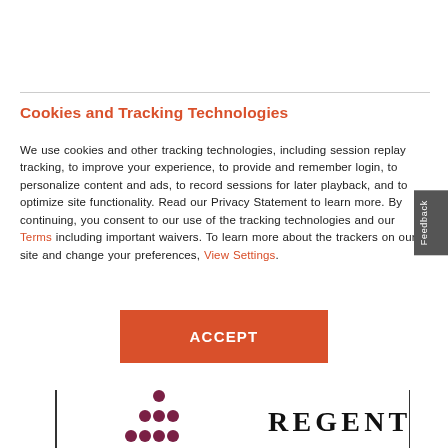Cookies and Tracking Technologies
We use cookies and other tracking technologies, including session replay tracking, to improve your experience, to provide and remember login, to personalize content and ads, to record sessions for later playback, and to optimize site functionality. Read our Privacy Statement to learn more. By continuing, you consent to our use of the tracking technologies and our Terms including important waivers. To learn more about the trackers on our site and change your preferences, View Settings.
[Figure (other): Orange ACCEPT button]
[Figure (logo): Regent logo with dot pattern and REGENT text]